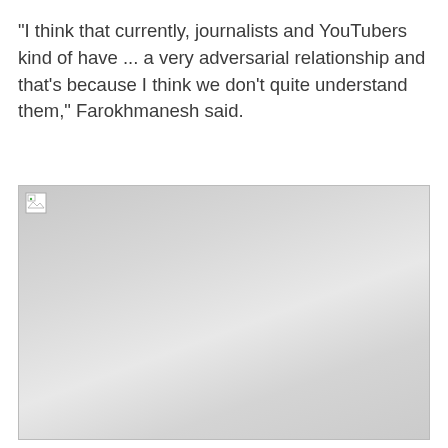"I think that currently, journalists and YouTubers kind of have ... a very adversarial relationship and that's because I think we don't quite understand them," Farokhmanesh said.
[Figure (photo): A broken/missing image placeholder with a gray gradient background and a broken image icon in the top-left corner.]